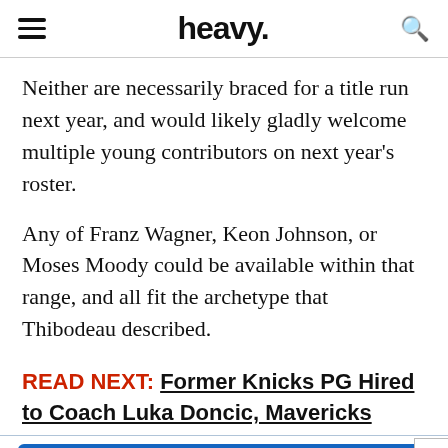heavy.
Neither are necessarily braced for a title run next year, and would likely gladly welcome multiple young contributors on next year’s roster.
Any of Franz Wagner, Keon Johnson, or Moses Moody could be available within that range, and all fit the archetype that Thibodeau described.
READ NEXT: Former Knicks PG Hired to Coach Luka Doncic, Mavericks
[Figure (other): Advertisement banner for Mis Rewards: 'Earn money by sharing your opinions' with pink pig illustration and SIGN UP button on blue background]
Basketball, NBA, New York Knicks